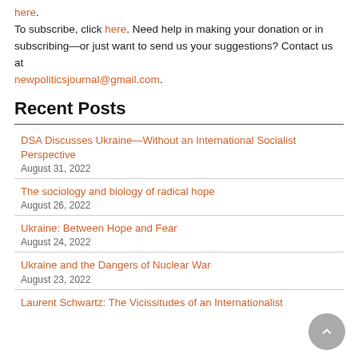here. To subscribe, click here. Need help in making your donation or in subscribing—or just want to send us your suggestions? Contact us at newpoliticsjournal@gmail.com.
Recent Posts
DSA Discusses Ukraine—Without an International Socialist Perspective
August 31, 2022
The sociology and biology of radical hope
August 26, 2022
Ukraine: Between Hope and Fear
August 24, 2022
Ukraine and the Dangers of Nuclear War
August 23, 2022
Laurent Schwartz: The Vicissitudes of an Internationalist